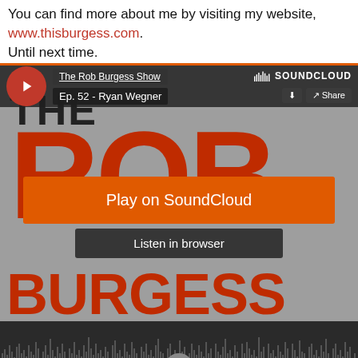You can find more about me by visiting my website, www.thisburgess.com. Until next time.
[Figure (screenshot): SoundCloud embedded player screenshot showing The Rob Burgess Show, Ep. 52 - Ryan Wegner. Features large 'THE ROB BURGESS' text on grey background, orange 'Play on SoundCloud' button, and 'Listen in browser' button. Waveform visible at bottom.]